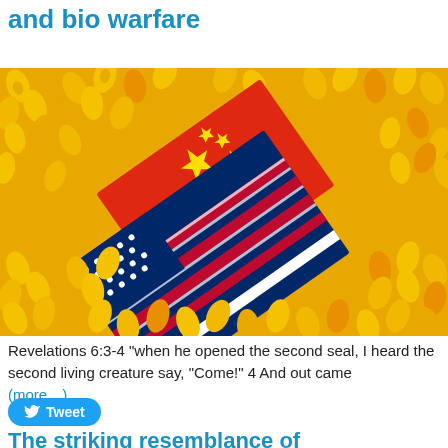and bio warfare
[Figure (photo): Pile of yellow corn kernels covering two overlapping flag cards — Chinese flag (red with yellow stars) and American flag (blue with white stars and red/white stripes) — partially visible beneath the corn.]
Revelations 6:3-4 “when he opened the second seal, I heard the second living creature say, “Come!” 4 And out came (more…)
Tweet
Save
The striking resemblance of